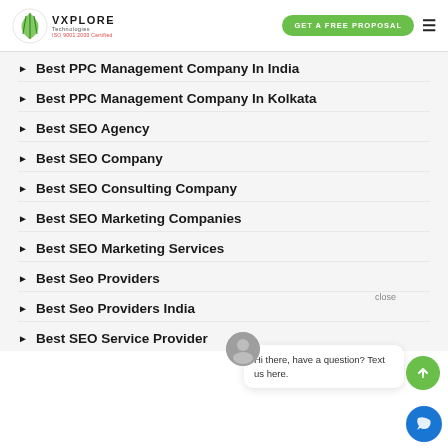VXPlore Technologies | GET A FREE PROPOSAL
Best PPC Management Company In India
Best PPC Management Company In Kolkata
Best SEO Agency
Best SEO Company
Best SEO Consulting Company
Best SEO Marketing Companies
Best SEO Marketing Services
Best Seo Providers
Best Seo Providers India
Best SEO Service Provider